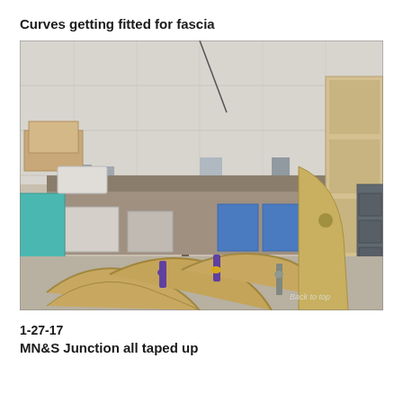Curves getting fitted for fascia
[Figure (photo): Workshop photo showing curved MDF fascia pieces laid out on the floor with clamps holding them together. A workbench with tools and storage bins is visible in the background. On the right side stands a tall wooden bookcase-style unit. A 'Back to top' watermark appears in the lower right of the image.]
1-27-17
MN&S Junction all taped up